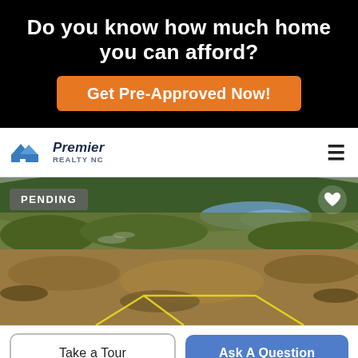Do you know how much home you can afford?
Get Pre-Approved Now!
[Figure (logo): Premier Realty NC logo with blue house roof icon and italic text]
[Figure (photo): Aerial drone photograph of a wooded and wetland property plot with yellow boundary markers and a lake visible in the background]
PENDING
Take a Tour
Ask A Question